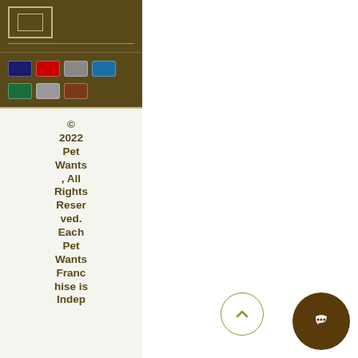[Figure (logo): Logo box with border in sidebar top area]
[Figure (infographic): Payment method icons row 1: Visa, Mastercard, Stripe, Amex]
[Figure (infographic): Payment method icons row 2: Maestro, PayPal, Amazon Pay]
© 2022 Pet Wants , All Rights Reserved. Each Pet Wants Franchise is Indep...
[Figure (illustration): Back to top chevron button circle with olive border]
[Figure (illustration): Chat bubble icon dark brown circle]